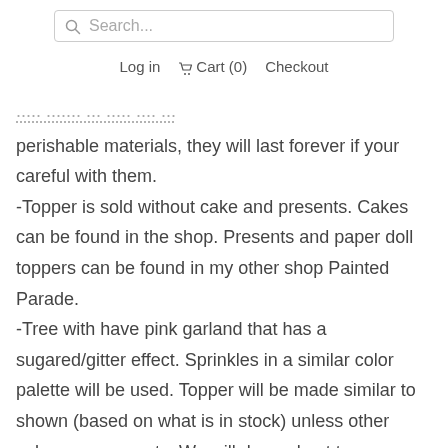Search...
Log in  Cart (0)  Checkout
...these toppers are made with non-perishable materials, they will last forever if your careful with them.
-Topper is sold without cake and presents. Cakes can be found in the shop. Presents and paper doll toppers can be found in my other shop Painted Parade.
-Tree with have pink garland that has a sugared/gitter effect. Sprinkles in a similar color palette will be used. Topper will be made similar to shown (based on what is in stock) unless other colors are requests. We will do our best to accommodate, but if you need something custom matched please email us ahead of time to ensure we can